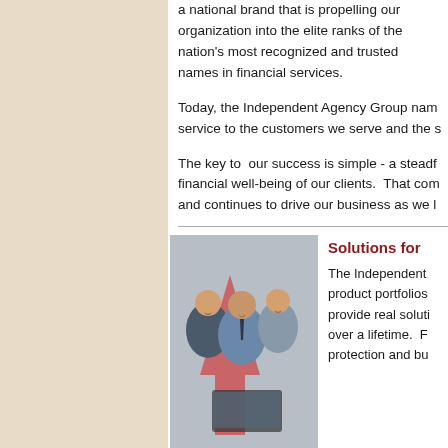a national brand that is propelling our organization into the elite ranks of the nation's most recognized and trusted names in financial services.
Today, the Independent Agency Group nam service to the customers we serve and the s
The key to our success is simple - a steadf financial well-being of our clients. That com and continues to drive our business as we l
[Figure (photo): Three business professionals (two women and one man in a blue shirt and tie) smiling and looking at a laptop, with a red arrow graphic in the background]
Solutions for
The Independent product portfolios provide real soluti over a lifetime. F protection and bu